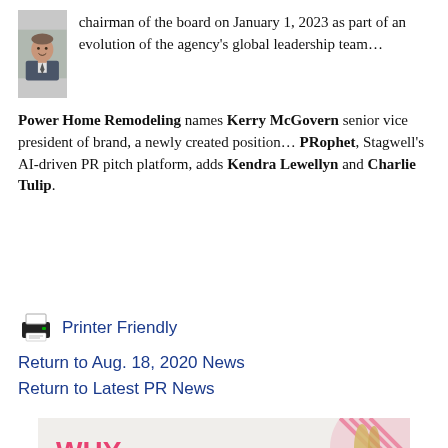[Figure (photo): Headshot of a man in a suit, smiling]
chairman of the board on January 1, 2023 as part of an evolution of the agency's global leadership team… Power Home Remodeling names Kerry McGovern senior vice president of brand, a newly created position… PRophet, Stagwell's AI-driven PR pitch platform, adds Kendra Lewellyn and Charlie Tulip.
[Figure (illustration): Printer icon]
Printer Friendly
Return to Aug. 18, 2020 News
Return to Latest PR News
[Figure (illustration): Advertisement banner: WHY is at the center of COYNE. with colorful graphic on right]